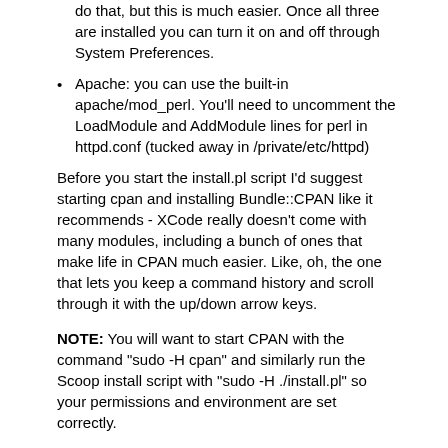do that, but this is much easier. Once all three are installed you can turn it on and off through System Preferences.
Apache: you can use the built-in apache/mod_perl. You'll need to uncomment the LoadModule and AddModule lines for perl in httpd.conf (tucked away in /private/etc/httpd)
Before you start the install.pl script I'd suggest starting cpan and installing Bundle::CPAN like it recommends - XCode really doesn't come with many modules, including a bunch of ones that make life in CPAN much easier. Like, oh, the one that lets you keep a command history and scroll through it with the up/down arrow keys.
NOTE: You will want to start CPAN with the command "sudo -H cpan" and similarly run the Scoop install script with "sudo -H ./install.pl" so your permissions and environment are set correctly.